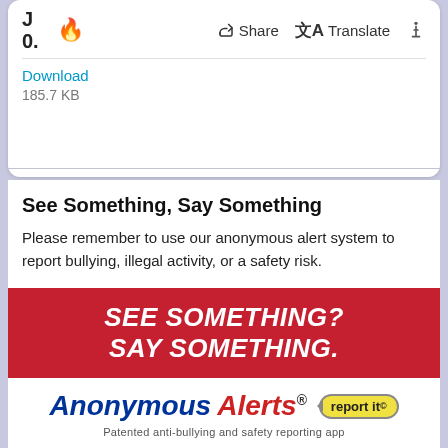[Figure (screenshot): Mobile app toolbar with fire emoji, Share button, Translate button, and accessibility icon]
Download
185.7 KB
See Something, Say Something
Please remember to use our anonymous alert system to report bullying, illegal activity, or a safety risk.
[Figure (infographic): Red banner reading SEE SOMETHING? SAY SOMETHING. with Anonymous Alerts logo and report it speech bubble. Text: Patented anti-bullying and safety reporting app. Download the App today! Passcode: tsd]